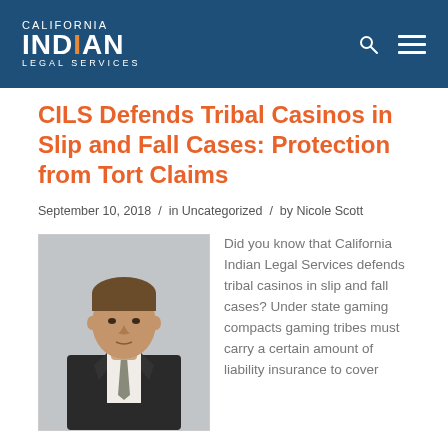CALIFORNIA INDIAN LEGAL SERVICES
CILS Defends Tribal Casinos in Slip and Fall Cases: Protection from Tort Claims
September 10, 2018 / in Uncategorized / by Nicole Scott
[Figure (photo): Professional headshot of a man in a dark suit with a tie, light background]
Did you know that California Indian Legal Services defends tribal casinos in slip and fall cases? Under state gaming compacts gaming tribes must carry a certain amount of liability insurance to cover